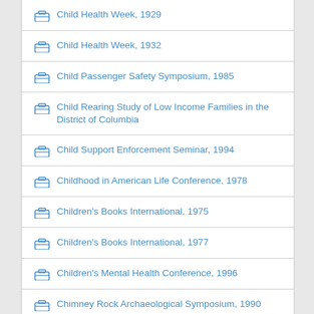Child Health Week, 1932
Child Passenger Safety Symposium, 1985
Child Rearing Study of Low Income Families in the District of Columbia
Child Support Enforcement Seminar, 1994
Childhood in American Life Conference, 1978
Children's Books International, 1975
Children's Books International, 1977
Children's Mental Health Conference, 1996
Chimney Rock Archaeological Symposium, 1990